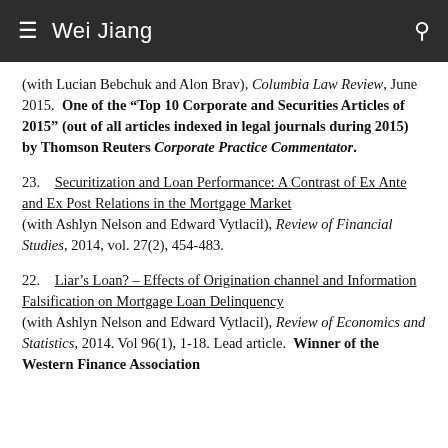Wei Jiang
(with Lucian Bebchuk and Alon Brav), Columbia Law Review, June 2015. One of the "Top 10 Corporate and Securities Articles of 2015" (out of all articles indexed in legal journals during 2015) by Thomson Reuters Corporate Practice Commentator.
23. Securitization and Loan Performance: A Contrast of Ex Ante and Ex Post Relations in the Mortgage Market (with Ashlyn Nelson and Edward Vytlacil), Review of Financial Studies, 2014, vol. 27(2), 454-483.
22. Liar's Loan? – Effects of Origination channel and Information Falsification on Mortgage Loan Delinquency (with Ashlyn Nelson and Edward Vytlacil), Review of Economics and Statistics, 2014. Vol 96(1), 1-18. Lead article. Winner of the Western Finance Association